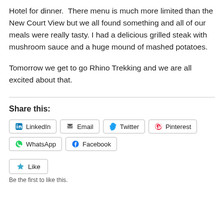Hotel for dinner.  There menu is much more limited than the New Court View but we all found something and all of our meals were really tasty. I had a delicious grilled steak with mushroom sauce and a huge mound of mashed potatoes.
Tomorrow we get to go Rhino Trekking and we are all excited about that.
Share this:
LinkedIn  Email  Twitter  Pinterest  WhatsApp  Facebook
Like
Be the first to like this.